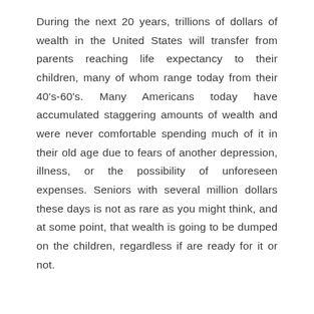During the next 20 years, trillions of dollars of wealth in the United States will transfer from parents reaching life expectancy to their children, many of whom range today from their 40's-60's. Many Americans today have accumulated staggering amounts of wealth and were never comfortable spending much of it in their old age due to fears of another depression, illness, or the possibility of unforeseen expenses. Seniors with several million dollars these days is not as rare as you might think, and at some point, that wealth is going to be dumped on the children, regardless if are ready for it or not.